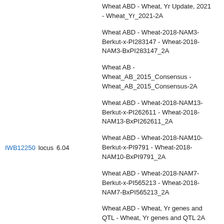Wheat ABD - Wheat, Yr Update, 2021 - Wheat_Yr_2021-2A
Wheat ABD - Wheat-2018-NAM3-Berkut-x-PI283147 - Wheat-2018-NAM3-BxPI283147_2A
Wheat AB - Wheat_AB_2015_Consensus - Wheat_AB_2015_Consensus-2A
Wheat ABD - Wheat-2018-NAM13-Berkut-x-PI262611 - Wheat-2018-NAM13-BxPI262611_2A
Wheat ABD - Wheat-2018-NAM10-Berkut-x-PI9791 - Wheat-2018-NAM10-BxPI9791_2A
Wheat ABD - Wheat-2018-NAM7-Berkut-x-PI565213 - Wheat-2018-NAM7-BxPI565213_2A
IWB12250    locus    6.04
Wheat ABD - Wheat, Yr genes and QTL - Wheat, Yr genes and QTL 2A
Wheat ABD - Wheat-2018-NAM17-Berkut-x-PI82469 - Wheat-2018-NAM17-BxPI82469_2A
Wheat ABD - Wheat-2018-NAM15-Berkut-x-Cltr7635 - Wheat-2018-